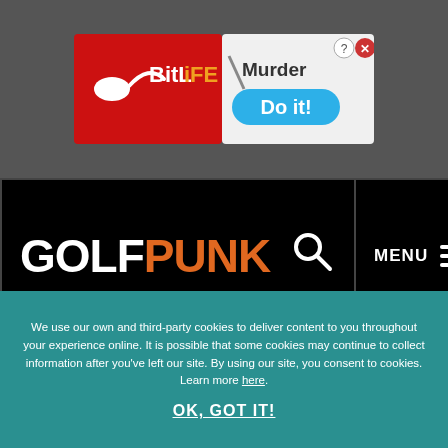[Figure (screenshot): BitLife advertisement banner: red background with BitLife logo (sperm icon) on left, white/orange text 'BitLife', right side shows 'Murder Do it!' with blue pill button shape and question mark/close icons]
[Figure (logo): GolfPunk navigation bar with white 'GOLF' and orange 'PUNK' logo text, search icon, and MENU hamburger button on black background]
COMPLAINTS
TERMS AND CONDITIONS
COOKIE POLICY
ADVERTISING INFO
We use our own and third-party cookies to deliver content to you throughout your experience online. It is possible that some cookies may continue to collect information after you've left our site. By using our site, you consent to cookies. Learn more here.
OK, GOT IT!